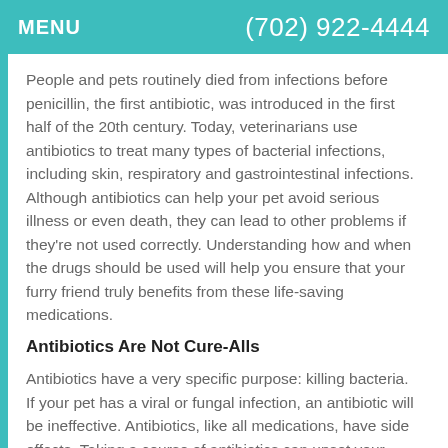MENU   (702) 922-4444
People and pets routinely died from infections before penicillin, the first antibiotic, was introduced in the first half of the 20th century. Today, veterinarians use antibiotics to treat many types of bacterial infections, including skin, respiratory and gastrointestinal infections. Although antibiotics can help your pet avoid serious illness or even death, they can lead to other problems if they're not used correctly. Understanding how and when the drugs should be used will help you ensure that your furry friend truly benefits from these life-saving medications.
Antibiotics Are Not Cure-Alls
Antibiotics have a very specific purpose: killing bacteria. If your pet has a viral or fungal infection, an antibiotic will be ineffective. Antibiotics, like all medications, have side effects. Taking a course of antibiotics can upset your pet's stomach and cause vomiting or diarrhea, in some cases. Antibiotic use may also increase the risk of a